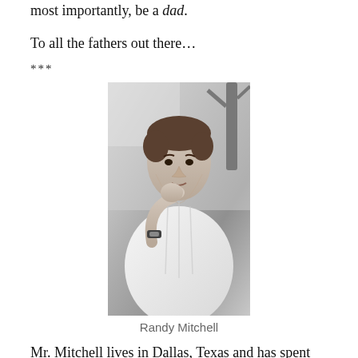most importantly, be a dad.
To all the fathers out there…
***
[Figure (photo): Black and white portrait photo of Randy Mitchell, a middle-aged man in a white shirt, resting his chin on his hand, with trees in the background.]
Randy Mitchell
Mr. Mitchell lives in Dallas, Texas and has spent most of his career as a commercial airline pilot. He's an avid blogger, movie fan, martial artist, and lover of all things Dallas Cowboys. His first romance novel, Sons in the Clouds, is currently available wherever e books are sold